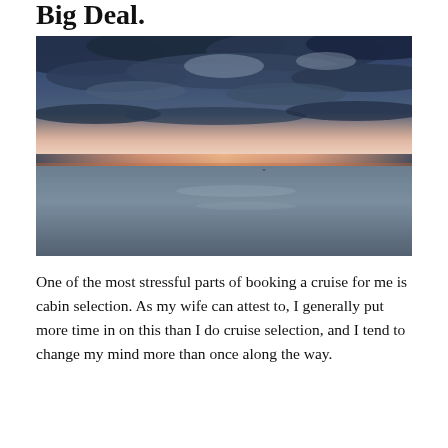Big Deal.
[Figure (photo): Ocean or sea at sunset/sunrise with dramatic cloudy sky in shades of blue, grey, and hints of orange at the horizon. Calm, slightly rippled water in foreground.]
One of the most stressful parts of booking a cruise for me is cabin selection. As my wife can attest to, I generally put more time in on this than I do cruise selection, and I tend to change my mind more than once along the way.